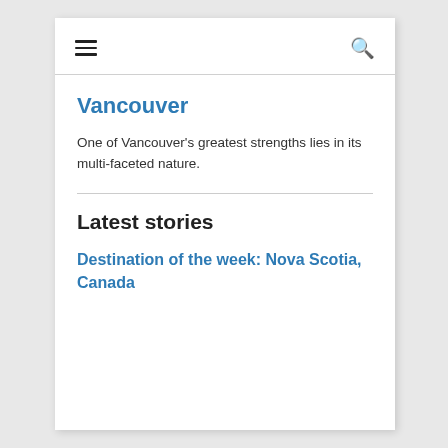≡  🔍
Vancouver
One of Vancouver's greatest strengths lies in its multi-faceted nature.
Latest stories
Destination of the week: Nova Scotia, Canada